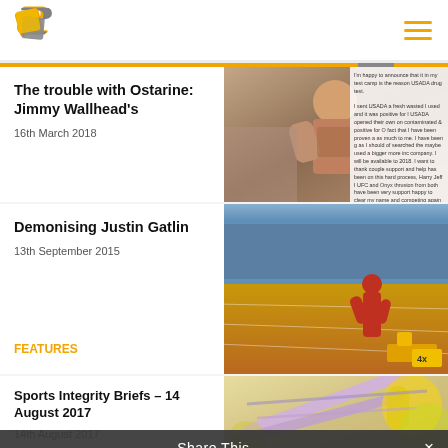[Figure (logo): Sports Integrity Initiative logo - gold and grey geometric S shape]
The trouble with Ostarine: Jimmy Wallhead's
16th March 2018
[Figure (photo): MMA fighter Jimmy Wallhead shirtless showing tattoos, flexing]
Demonising Justin Gatlin
13th September 2015
FEATURES
[Figure (photo): Justin Gatlin athlete on running track at stadium]
Sports Integrity Briefs – 14 August 2017
14th August 2017
[Figure (photo): Medical syringes and vials close-up]
Share This ∨